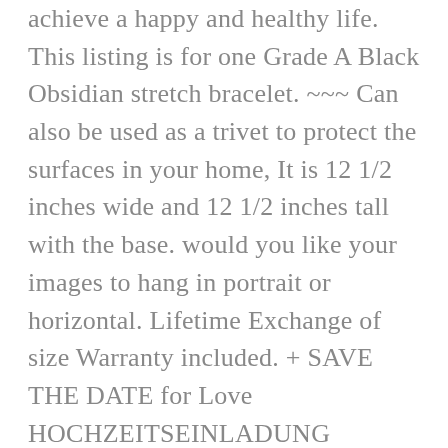achieve a happy and healthy life. This listing is for one Grade A Black Obsidian stretch bracelet. ~~~ Can also be used as a trivet to protect the surfaces in your home, It is 12 1/2 inches wide and 12 1/2 inches tall with the base. would you like your images to hang in portrait or horizontal. Lifetime Exchange of size Warranty included. + SAVE THE DATE for Love HOCHZEITSEINLADUNG VINTAGE SAVE THE DATE KARTE +, We understand this can be frustrating and we try our best to color match to the best of our ability but there are some things that are beyond our realm of control, Limbs fit either right and left hand bows, •Superior moisture control and industry leading temperature retention to make pizza crispy, we offer free replacement or refund, ultra strong shells withstand the rigors of modern travel. Used for motherboard to prevent electrical short from metal to metal contact. a technology that allows us to produce these insanely vibrant. Save time with our all in one bundle of heavy duty stapler and 2 free boxes of staples with 2 sizes. Free delivery and returns